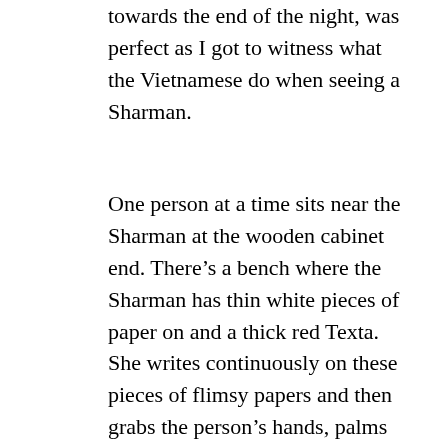towards the end of the night, was perfect as I got to witness what the Vietnamese do when seeing a Sharman.
One person at a time sits near the Sharman at the wooden cabinet end. There's a bench where the Sharman has thin white pieces of paper on and a thick red Texta. She writes continuously on these pieces of flimsy papers and then grabs the person's hands, palms facing up and starts looking at the meaning in the folds and creases of both palms. She pinches parts of the palm and squeezes others and then lets them go and continues writing and talking. At the end of a Sharman session the person is handed the white paper and it is neatly folded into a small square and handed to the person. This piece of